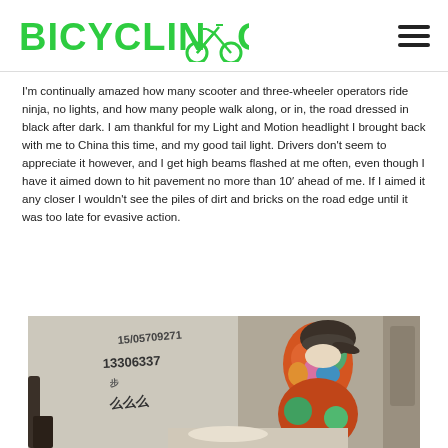BICYCLINGOLN™
I'm continually amazed how many scooter and three-wheeler operators ride ninja, no lights, and how many people walk along, or in, the road dressed in black after dark. I am thankful for my Light and Motion headlight I brought back with me to China this time, and my good tail light. Drivers don't seem to appreciate it however, and I get high beams flashed at me often, even though I have it aimed down to hit pavement no more than 10′ ahead of me. If I aimed it any closer I wouldn't see the piles of dirt and bricks on the road edge until it was too late for evasive action.
[Figure (photo): A person wearing a colorful jacket and dark cap leaning over, with graffiti/writing on a wall behind them showing phone numbers and Chinese characters.]